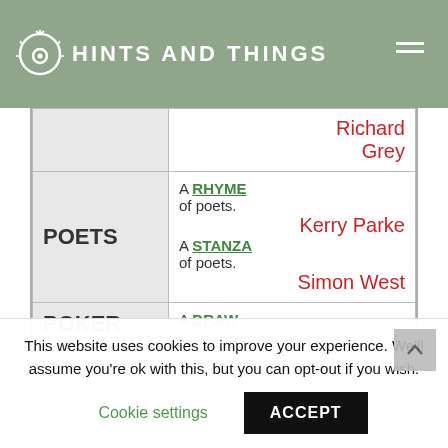HINTS AND THINGS
| Category | Content |
| --- | --- |
|  | Richard Grey |
| POETS | A RHYME of poets.
Kerry Parke
A STANZA of poets.
Simon West |
| POKER | A DRAW ... |
This website uses cookies to improve your experience. We'll assume you're ok with this, but you can opt-out if you wish.
Cookie settings | ACCEPT